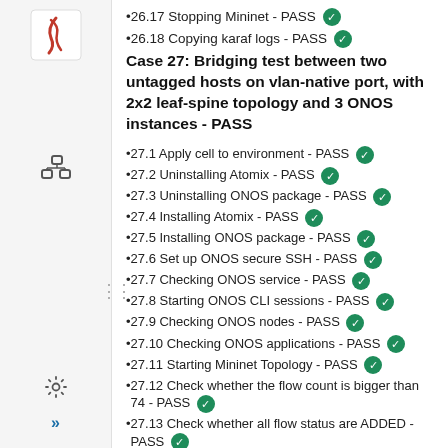26.17 Stopping Mininet - PASS ✓
26.18 Copying karaf logs - PASS ✓
Case 27: Bridging test between two untagged hosts on vlan-native port, with 2x2 leaf-spine topology and 3 ONOS instances - PASS
27.1 Apply cell to environment - PASS ✓
27.2 Uninstalling Atomix - PASS ✓
27.3 Uninstalling ONOS package - PASS ✓
27.4 Installing Atomix - PASS ✓
27.5 Installing ONOS package - PASS ✓
27.6 Set up ONOS secure SSH - PASS ✓
27.7 Checking ONOS service - PASS ✓
27.8 Starting ONOS CLI sessions - PASS ✓
27.9 Checking ONOS nodes - PASS ✓
27.10 Checking ONOS applications - PASS ✓
27.11 Starting Mininet Topology - PASS ✓
27.12 Check whether the flow count is bigger than 74 - PASS ✓
27.13 Check whether all flow status are ADDED - PASS ✓